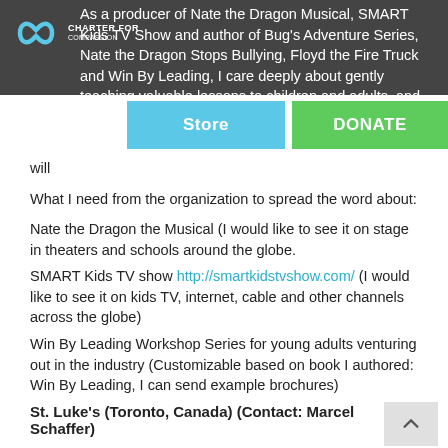[Figure (logo): Charter for Compassion infinity loop logo with text 'Charter for Compassion']
As a producer of Nate the Dragon Musical, SMART Kids TV Show and author of Bug’s Adventure Series, Nate the Dragon Stops Bullying, Floyd the Fire Truck and Win By Leading, I care deeply about gently teaching valuable lessons to children and adults, and creating characters loved by a wide range of readers and viewers. Those who know me can’t wait to … will
What I need from the organization to spread the word about:
Nate the Dragon the Musical (I would like to see it on stage in theaters and schools around the globe.
SMART Kids TV show http://smartkidstvshow.com/ (I would like to see it on kids TV, internet, cable and other channels across the globe)
Win By Leading Workshop Series for young adults venturing out in the industry (Customizable based on book I authored: Win By Leading, I can send example brochures)
St. Luke’s (Toronto, Canada) (Contact: Marcel Schaffer)